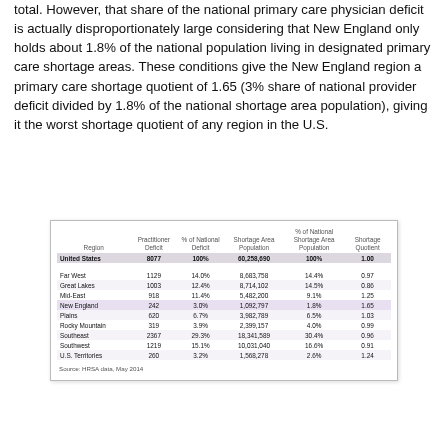total. However, that share of the national primary care physician deficit is actually disproportionately large considering that New England only holds about 1.8% of the national population living in designated primary care shortage areas. These conditions give the New England region a primary care shortage quotient of 1.65 (3% share of national provider deficit divided by 1.8% of the national shortage area population), giving it the worst shortage quotient of any region in the U.S.
| Region | Practitioner Deficit | % of National Deficit | Shortage Area Population | % of National Shortage Area Population | Shortage Quotient |
| --- | --- | --- | --- | --- | --- |
| United States | 8077 | 100% | 60,258,690 | 100% | 1.00 |
| Far West | 1129 | 14.0% | 8,683,758 | 14.4% | 0.97 |
| Great Lakes | 1003 | 12.4% | 8,714,102 | 14.5% | 0.86 |
| Mid-East | 918 | 11.4% | 5,482,200 | 9.1% | 1.25 |
| New England | 242 | 3.0% | 1,092,797 | 1.8% | 1.65 |
| Plains | 620 | 6.7% | 3,982,789 | 6.5% | 1.03 |
| Rocky Mountain | 319 | 3.9% | 2,399,157 | 4.0% | 0.99 |
| Southeast | 2367 | 29.3% | 18,341,589 | 30.4% | 0.96 |
| Southwest | 1219 | 15.1% | 10,031,040 | 16.6% | 0.91 |
| U.S. Territories | 260 | 3.2% | 1,568,278 | 2.6% | 1.24 |